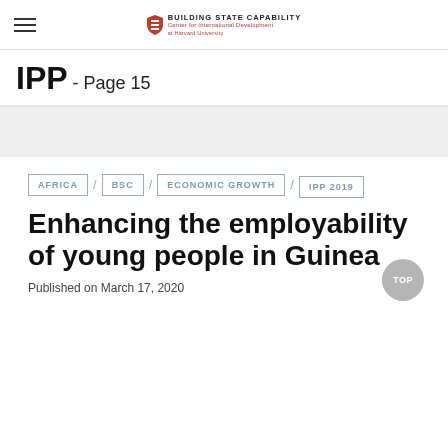BUILDING STATE CAPABILITY — Center for International Development at Harvard University
IPP - Page 15
AFRICA / BSC / ECONOMIC GROWTH / IPP 2019
Enhancing the employability of young people in Guinea
Published on March 17, 2020